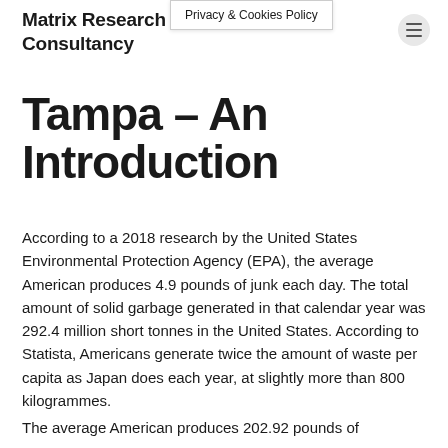Privacy & Cookies Policy
Matrix Research & Consultancy
Tampa – An Introduction
According to a 2018 research by the United States Environmental Protection Agency (EPA), the average American produces 4.9 pounds of junk each day. The total amount of solid garbage generated in that calendar year was 292.4 million short tonnes in the United States. According to Statista, Americans generate twice the amount of waste per capita as Japan does each year, at slightly more than 800 kilogrammes.
The average American produces 202.92 pounds of